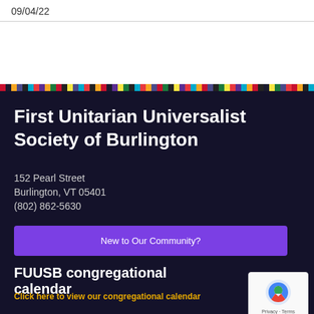09/04/22
[Figure (illustration): Multicolored horizontal rainbow stripe bar spanning full width]
First Unitarian Universalist Society of Burlington
152 Pearl Street
Burlington, VT 05401
(802) 862-5630
New to Our Community?
FUUSB congregational calendar
Click here to view our congregational calendar
[Figure (logo): reCAPTCHA badge with Privacy and Terms text]